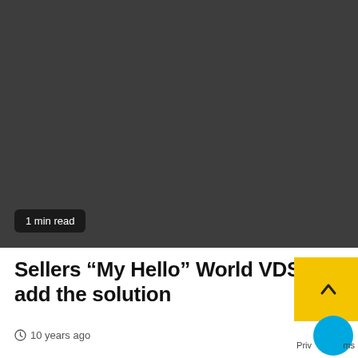[Figure (photo): Dark gray hero image placeholder, approximately 448x310px]
1 min read
Sellers “My Hello” World VDS add the solution
⌚ 10 years ago